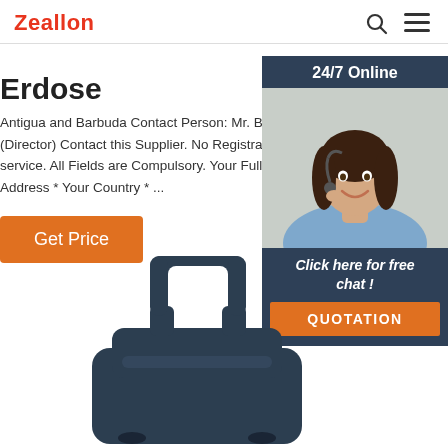Zeallon
Erdose
Antigua and Barbuda Contact Person: Mr. Ben Do (Director) Contact this Supplier. No Registration R service. All Fields are Compulsory. Your Full Name Address * Your Country * ...
Get Price
[Figure (photo): Chat widget with woman wearing headset, '24/7 Online' banner, 'Click here for free chat!' text, and QUOTATION button]
[Figure (photo): Dark blue/navy hard-shell luggage suitcase top handle and body shown from above]